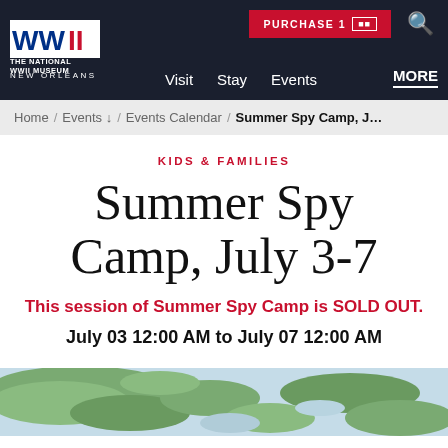[Figure (logo): The National WWII Museum New Orleans logo with WWI stylized text in blue and red on white background]
PURCHASE TICKETS | Search | Visit | Stay | Events | MORE
Home / Events ↓ / Events Calendar / Summer Spy Camp, J...
KIDS & FAMILIES
Summer Spy Camp, July 3-7
This session of Summer Spy Camp is SOLD OUT.
July 03 12:00 AM to July 07 12:00 AM
[Figure (photo): Partial view of a map, likely a WWII-era map showing green landmasses]